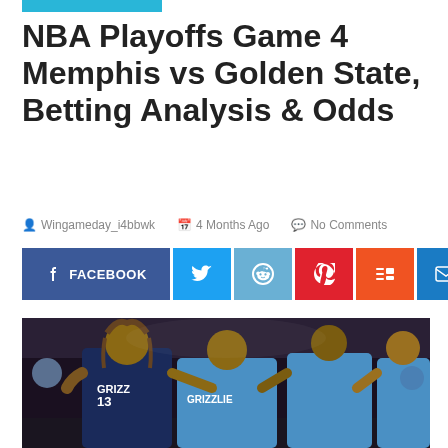NBA Playoffs Game 4 Memphis vs Golden State, Betting Analysis & Odds
Wingameday_i4bbwk   4 Months Ago   No Comments
[Figure (infographic): Social media sharing buttons: Facebook, Twitter, Reddit, Pinterest, Mix, Email]
[Figure (photo): Memphis Grizzlies players celebrating, wearing light blue GRIZZLIES jerseys, posing and pointing with fingers]